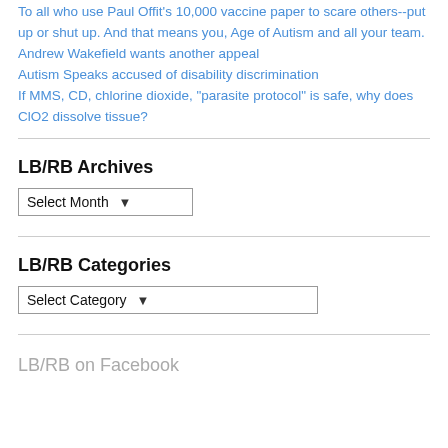To all who use Paul Offit's 10,000 vaccine paper to scare others--put up or shut up. And that means you, Age of Autism and all your team.
Andrew Wakefield wants another appeal
Autism Speaks accused of disability discrimination
If MMS, CD, chlorine dioxide, "parasite protocol" is safe, why does ClO2 dissolve tissue?
LB/RB Archives
Select Month
LB/RB Categories
Select Category
LB/RB on Facebook